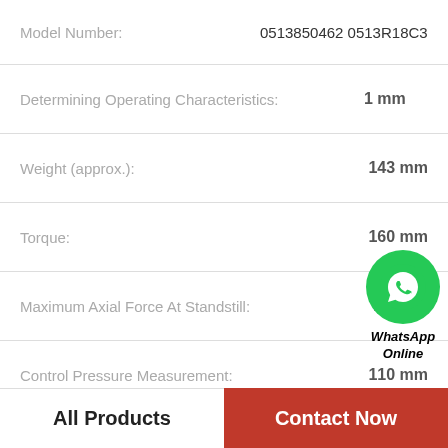Model Number: 0513850462 0513R18C3VPV3
Determining Operating Characteristics: 1 mm
Weight (approx.): 143 mm
Torque: 160 mm
Maximum Axial Force At Standstill: 70.2 kN
[Figure (logo): WhatsApp Online green circle badge with phone icon and text 'WhatsApp Online']
Control Pressure Measurement: 110 mm
Maximum rotational speed: 42.7 kN
Power: 20 mm
Maximum Torque: 2.5 mm
Product Details
All Products
Contact Now